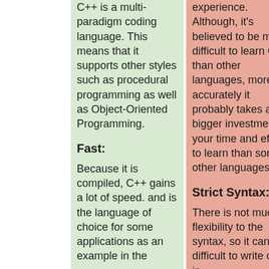C++ is a multi-paradigm coding language. This means that it supports other styles such as procedural programming as well as Object-Oriented Programming.
Fast:
Because it is compiled, C++ gains a lot of speed. and is the language of choice for some applications as an example in the
experience. Although, it's believed to be more difficult to learn C++ than other languages, more accurately it probably takes a bigger investment of your time and effort to learn than some other languages.
Strict Syntax:
There is not much flexibility to the syntax, so it can be difficult to write code in